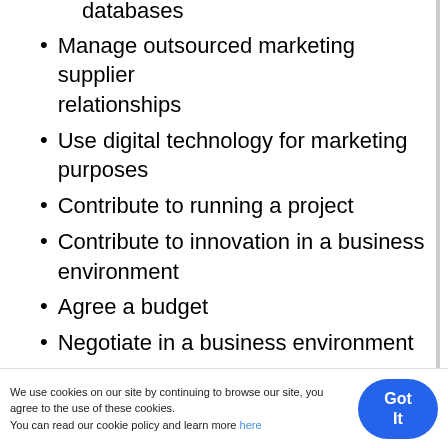databases
Manage outsourced marketing supplier relationships
Use digital technology for marketing purposes
Contribute to running a project
Contribute to innovation in a business environment
Agree a budget
Negotiate in a business environment
Plan and organise an event
Co-ordinate an event
Evaluate the effectiveness of a marketing plan
Contribute to the preparation of a marketing strategy
Contribute to the development of new products and/or services
We use cookies on our site by continuing to browse our site, you agree to the use of these cookies.
You can read our cookie policy and learn more here